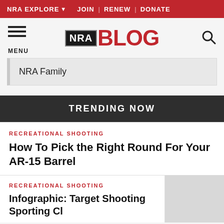NRA EXPLORE ▾   JOIN | RENEW | DONATE
[Figure (logo): NRA BLOG logo with menu icon and search icon]
NRA Family
TRENDING NOW
RECREATIONAL SHOOTING
How To Pick the Right Round For Your AR-15 Barrel
RECREATIONAL SHOOTING
Infographic: Target Shooting Sporting Cl...